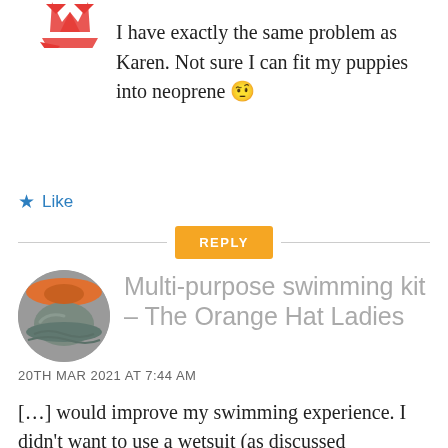[Figure (illustration): Partial circular avatar icon with red/orange geometric design at top left]
I have exactly the same problem as Karen. Not sure I can fit my puppies into neoprene 🤨
★ Like
REPLY
[Figure (photo): Circular avatar photo showing a swimming figure in water with orange cap]
Multi-purpose swimming kit – The Orange Hat Ladies
20TH MAR 2021 AT 7:44 AM
[…] would improve my swimming experience. I didn't want to use a wetsuit (as discussed